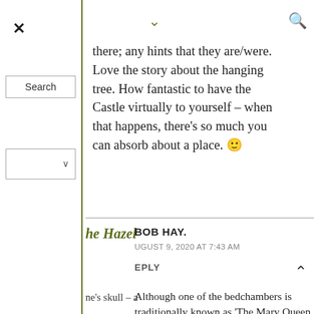there; any hints that they are/were. Love the story about the hanging tree. How fantastic to have the Castle virtually to yourself – when that happens, there's so much you can absorb about a place. 🙂
BOB HAY.
AUGUST 9, 2020 AT 7:43 AM
REPLY
Although one of the bedchambers is traditionally known as 'The Mary Queen of Scots Bedchamber' there is no written